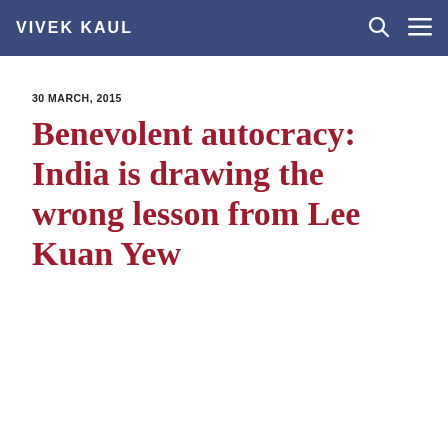VIVEK KAUL
30 MARCH, 2015
Benevolent autocracy: India is drawing the wrong lesson from Lee Kuan Yew